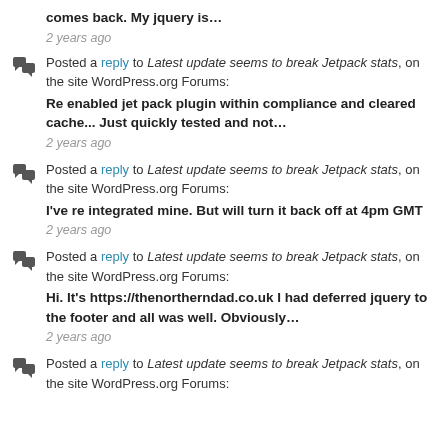comes back. My jquery is…
2 years ago
Posted a reply to Latest update seems to break Jetpack stats, on the site WordPress.org Forums:
Re enabled jet pack plugin within compliance and cleared cache... Just quickly tested and not…
2 years ago
Posted a reply to Latest update seems to break Jetpack stats, on the site WordPress.org Forums:
I've re integrated mine. But will turn it back off at 4pm GMT
2 years ago
Posted a reply to Latest update seems to break Jetpack stats, on the site WordPress.org Forums:
Hi. It's https://thenortherndad.co.uk I had deferred jquery to the footer and all was well. Obviously…
2 years ago
Posted a reply to Latest update seems to break Jetpack stats, on the site WordPress.org Forums: